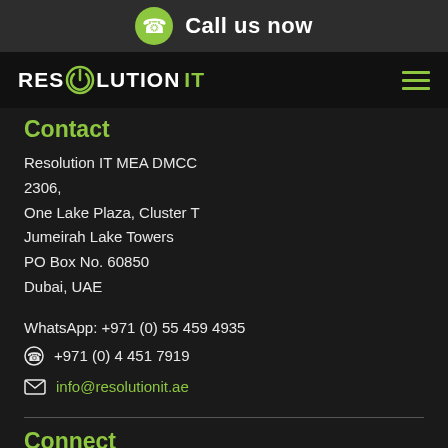Call us now
[Figure (logo): Resolution IT logo with power button icon]
Contact
Resolution IT MEA DMCC
2306,
One Lake Plaza, Cluster T
Jumeirah Lake Towers
PO Box No. 60850
Dubai, UAE
WhatsApp: +971 (0) 55 459 4935
+971 (0) 4 451 7919
info@resolutionit.ae
Connect